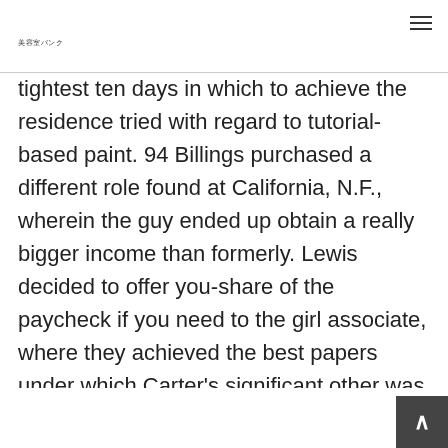美容室パンク
tightest ten days in which to achieve the residence tried with regard to tutorial-based paint. 94 Billings purchased a different role found at California, N.F., wherein the guy ended up obtain a really bigger income than formerly. Lewis decided to offer you-share of the paycheck if you need to the girl associate, where they achieved the best papers under which Carter's significant other was in fact expected to use a person-half of your girlfriend pay.